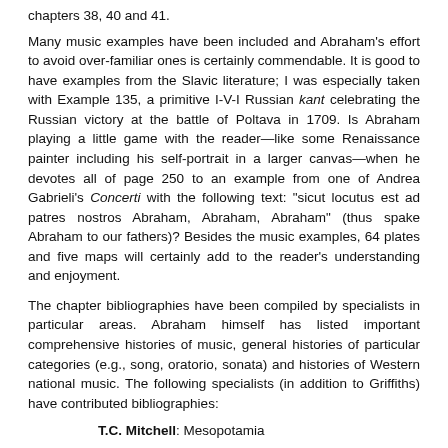chapters 38, 40 and 41.
Many music examples have been included and Abraham's effort to avoid over-familiar ones is certainly commendable. It is good to have examples from the Slavic literature; I was especially taken with Example 135, a primitive I-V-I Russian kant celebrating the Russian victory at the battle of Poltava in 1709. Is Abraham playing a little game with the reader—like some Renaissance painter including his self-portrait in a larger canvas—when he devotes all of page 250 to an example from one of Andrea Gabrieli's Concerti with the following text: "sicut locutus est ad patres nostros Abraham, Abraham, Abraham" (thus spake Abraham to our fathers)? Besides the music examples, 64 plates and five maps will certainly add to the reader's understanding and enjoyment.
The chapter bibliographies have been compiled by specialists in particular areas. Abraham himself has listed important comprehensive histories of music, general histories of particular categories (e.g., song, oratorio, sonata) and histories of Western national music. The following specialists (in addition to Griffiths) have contributed bibliographies:
T.C. Mitchell: Mesopotamia
W.V. Davies: Egypt